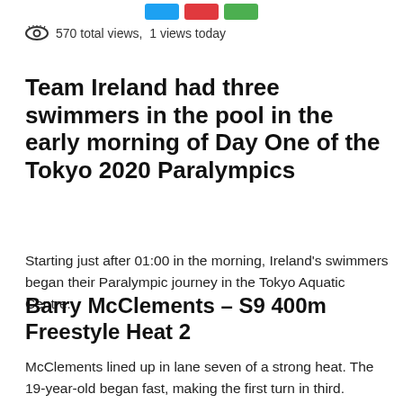[Figure (other): Three social share buttons: blue (Twitter), red (Pinterest/share), green (share)]
570 total views,  1 views today
Team Ireland had three swimmers in the pool in the early morning of Day One of the Tokyo 2020 Paralympics
Starting just after 01:00 in the morning, Ireland's swimmers began their Paralympic journey in the Tokyo Aquatic Centre.
Barry McClements – S9 400m Freestyle Heat 2
McClements lined up in lane seven of a strong heat. The 19-year-old began fast, making the first turn in third. Australia's Tuckfield quickly burst away from the pack as the Irishman